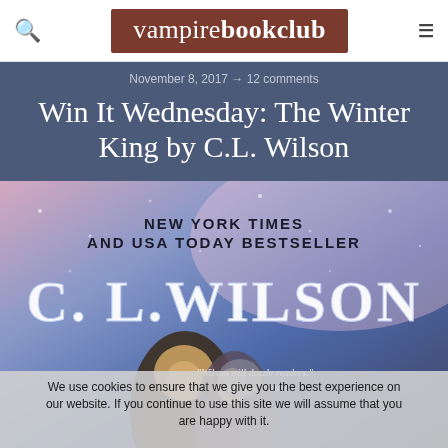vampire book club
November 8, 2017 → 12 comments
Win It Wednesday: The Winter King by C.L. Wilson
[Figure (illustration): Book cover for The Winter King by C.L. Wilson. Shows 'NEW YORK TIMES AND USA TODAY BESTSELLER' at the top, author name 'C. L. WILSON' in large decorative white letters, and a quote '"Wilson will dazzle readers." Chicago Tribune'. Fantasy romance cover with two figures embracing against a wintry background.]
We use cookies to ensure that we give you the best experience on our website. If you continue to use this site we will assume that you are happy with it.